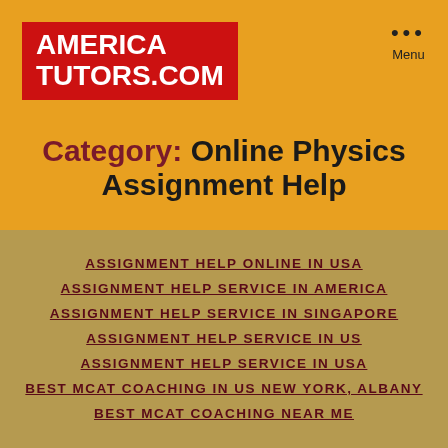[Figure (logo): AmericaTutors.com logo — white text on red background]
Menu
Category: Online Physics Assignment Help
ASSIGNMENT HELP ONLINE IN USA
ASSIGNMENT HELP SERVICE IN AMERICA
ASSIGNMENT HELP SERVICE IN SINGAPORE
ASSIGNMENT HELP SERVICE IN US
ASSIGNMENT HELP SERVICE IN USA
BEST MCAT COACHING IN US NEW YORK, ALBANY
BEST MCAT COACHING NEAR ME